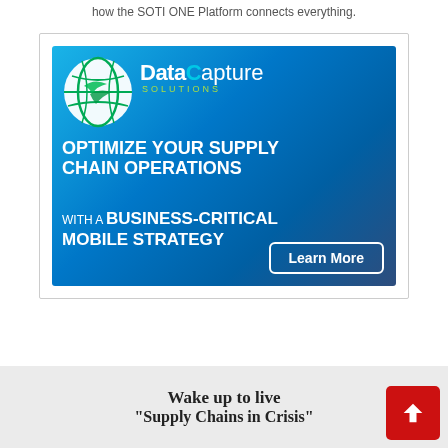how the SOTI ONE Platform connects everything.
[Figure (illustration): DataCapture Solutions advertisement banner. Blue gradient background with globe logo, DataCapture Solutions branding, and text: OPTIMIZE YOUR SUPPLY CHAIN OPERATIONS WITH A BUSINESS-CRITICAL MOBILE STRATEGY. Learn More button.]
Wake up to live "Supply Chains in Crisis"